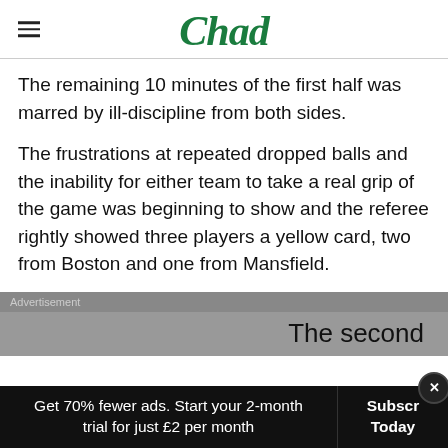Chad
The remaining 10 minutes of the first half was marred by ill-discipline from both sides.
The frustrations at repeated dropped balls and the inability for either team to take a real grip of the game was beginning to show and the referee rightly showed three players a yellow card, two from Boston and one from Mansfield.
Advertisement
The second
Get 70% fewer ads. Start your 2-month trial for just £2 per month
Subscribe Today